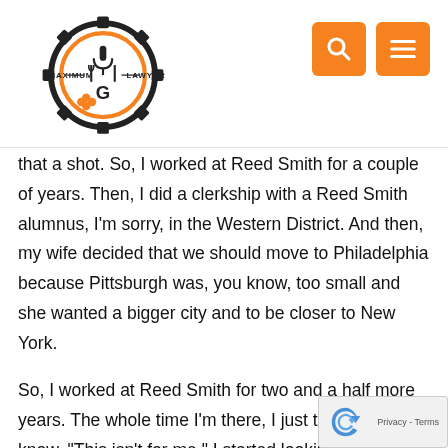Maximum Lawyer
that a shot. So, I worked at Reed Smith for a couple of years. Then, I did a clerkship with a Reed Smith alumnus, I'm sorry, in the Western District. And then, my wife decided that we should move to Philadelphia because Pittsburgh was, you know, too small and she wanted a bigger city and to be closer to New York.
So, I worked at Reed Smith for two and a half more years. The whole time I'm there, I just thought, you know, "This isn't for me." I started looking around. I had some pretty good, you know, exit options in-house or the US Attorney's office. I got interviews for both. I found things I didn't like about both. And then, there was also the government. And I found things I didn't like about t either. So then, I got this idea, "Why don't I just go out on my